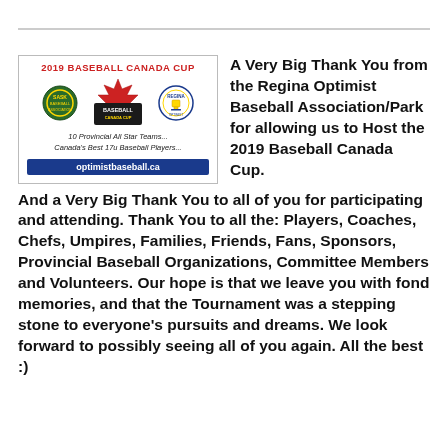[Figure (logo): 2019 Baseball Canada Cup logo with event branding, team logos, and website optimistbaseball.ca]
A Very Big Thank You from the Regina Optimist Baseball Association/Park for allowing us to Host the 2019 Baseball Canada Cup. And a Very Big Thank You to all of you for participating and attending. Thank You to all the: Players, Coaches, Chefs, Umpires, Families, Friends, Fans, Sponsors, Provincial Baseball Organizations, Committee Members and Volunteers. Our hope is that we leave you with fond memories, and that the Tournament was a stepping stone to everyone's pursuits and dreams. We look forward to possibly seeing all of you again. All the best :)